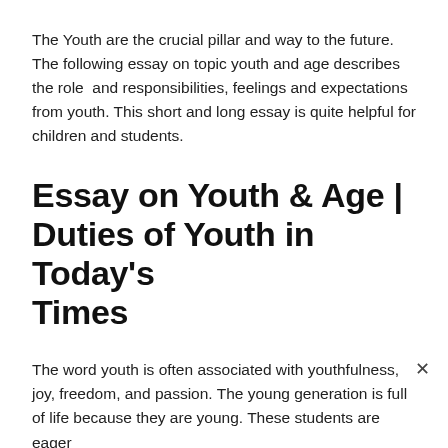The Youth are the crucial pillar and way to the future. The following essay on topic youth and age describes the role  and responsibilities, feelings and expectations from youth. This short and long essay is quite helpful for children and students.
Essay on Youth & Age | Duties of Youth in Today's Times
The word youth is often associated with youthfulness, joy, freedom, and passion. The young generation is full of life because they are young. These students are eager